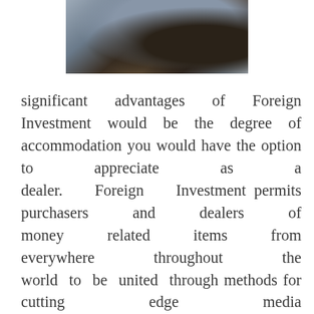[Figure (photo): A hand holding a smartphone displaying a financial app or trading interface, photographed from above on a wooden surface.]
significant advantages of Foreign Investment would be the degree of accommodation you would have the option to appreciate as a dealer. Foreign Investment permits purchasers and dealers of money related items from everywhere throughout the world to be united through methods for cutting edge media transmission systems. This implies dealers would now be